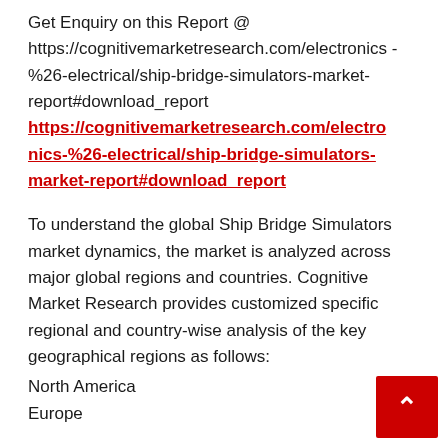Get Enquiry on this Report @ https://cognitivemarketresearch.com/electronics-%26-electrical/ship-bridge-simulators-market-report#download_report https://cognitivemarketresearch.com/electronics-%26-electrical/ship-bridge-simulators-market-report#download_report
To understand the global Ship Bridge Simulators market dynamics, the market is analyzed across major global regions and countries. Cognitive Market Research provides customized specific regional and country-wise analysis of the key geographical regions as follows:
North America
Europe